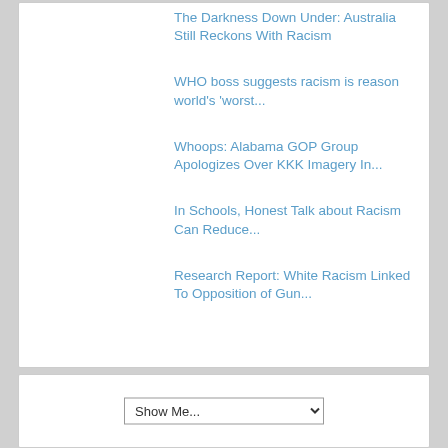The Darkness Down Under: Australia Still Reckons With Racism
WHO boss suggests racism is reason world's 'worst...
Whoops: Alabama GOP Group Apologizes Over KKK Imagery In...
In Schools, Honest Talk about Racism Can Reduce...
Research Report: White Racism Linked To Opposition of Gun...
Show Me...